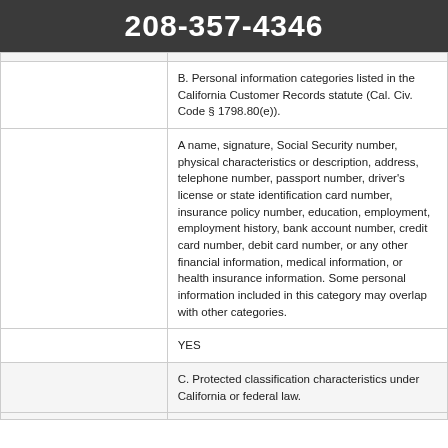208-357-4346
|  | B. Personal information categories listed in the California Customer Records statute (Cal. Civ. Code § 1798.80(e)). |
|  | A name, signature, Social Security number, physical characteristics or description, address, telephone number, passport number, driver's license or state identification card number, insurance policy number, education, employment, employment history, bank account number, credit card number, debit card number, or any other financial information, medical information, or health insurance information. Some personal information included in this category may overlap with other categories. |
|  | YES |
|  | C. Protected classification characteristics under California or federal law. |